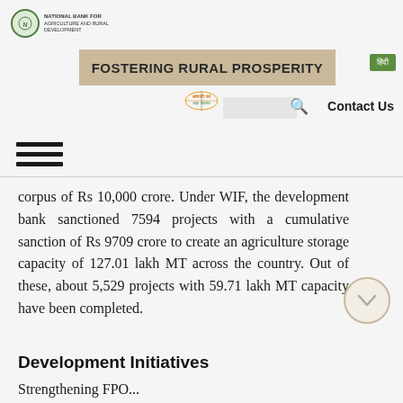FOSTERING RURAL PROSPERITY
corpus of Rs 10,000 crore. Under WIF, the development bank sanctioned 7594 projects with a cumulative sanction of Rs 9709 crore to create an agriculture storage capacity of 127.01 lakh MT across the country. Out of these, about 5,529 projects with 59.71 lakh MT capacity have been completed.
Development Initiatives